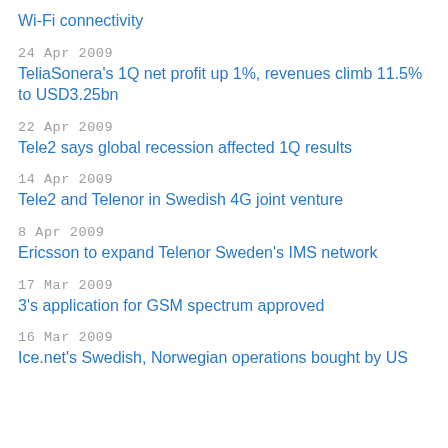Wi-Fi connectivity
24 Apr 2009
TeliaSonera's 1Q net profit up 1%, revenues climb 11.5% to USD3.25bn
22 Apr 2009
Tele2 says global recession affected 1Q results
14 Apr 2009
Tele2 and Telenor in Swedish 4G joint venture
8 Apr 2009
Ericsson to expand Telenor Sweden's IMS network
17 Mar 2009
3's application for GSM spectrum approved
16 Mar 2009
Ice.net's Swedish, Norwegian operations bought by US